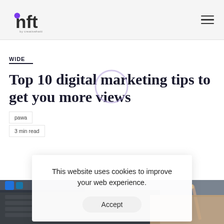nft by creativehatti — navigation header with hamburger menu
WIDE
Top 10 digital marketing tips to get you more views
pawa
3 min read
[Figure (photo): Laptop with keyboard and a pen on wooden surface, partially visible]
This website uses cookies to improve your web experience.
Accept